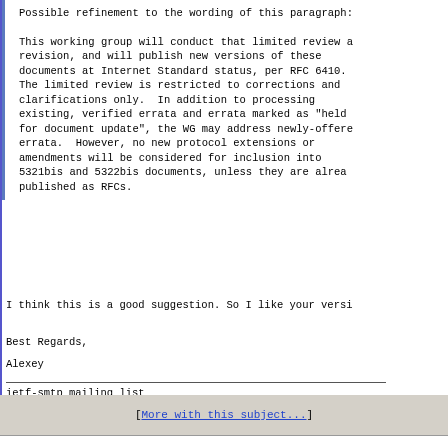Possible refinement to the wording of this paragraph:
This working group will conduct that limited review and revision, and will publish new versions of these documents at Internet Standard status, per RFC 6410. The limited review is restricted to corrections and clarifications only. In addition to processing existing, verified errata and errata marked as "held for document update", the WG may address newly-offered errata.  However, no new protocol extensions or amendments will be considered for inclusion into 5321bis and 5322bis documents, unless they are already published as RFCs.
I think this is a good suggestion. So I like your versi
Best Regards,
Alexey
ietf-smtp mailing list
ietf-smtp(_at_)ietf(_dot_)org
https://www.ietf.org/mailman/listinfo/ietf-smtp
[More with this subject...]